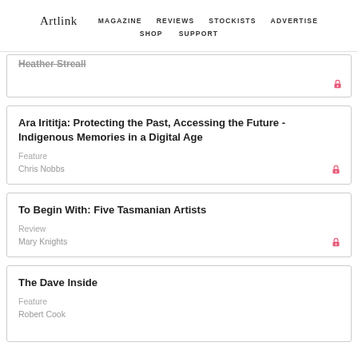Artlink | MAGAZINE | REVIEWS | STOCKISTS | ADVERTISE | SHOP | SUPPORT
Ara Irititja: Protecting the Past, Accessing the Future - Indigenous Memories in a Digital Age
Feature
Chris Nobbs
To Begin With: Five Tasmanian Artists
Review
Mary Knights
The Dave Inside
Feature
Robert Cook